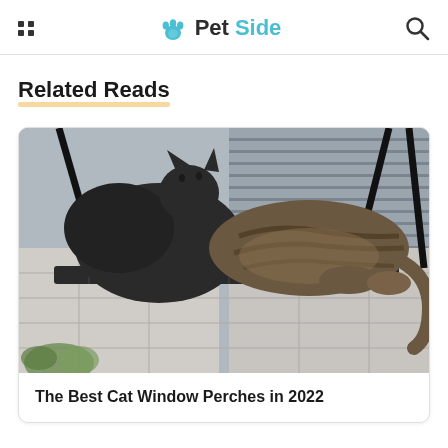PetSide
Related Reads
[Figure (photo): Two cats lying together on a black mesh window perch/hammock attached to a window, with blinds and tiled wall visible in the background. One cat is dark/black and curled up, the other is a tabby stretched out.]
The Best Cat Window Perches in 2022